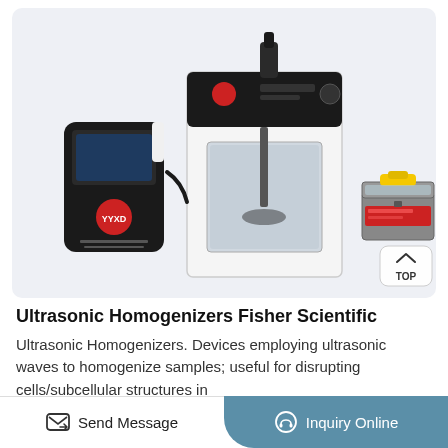[Figure (photo): Product photo showing ultrasonic homogenizer equipment: a small black control unit on the left, a large white cabinet-style sonicator with viewing window in the center, and a yellow-handled tool kit on the right. A 'TOP' button is visible in the bottom-right corner of the image.]
Ultrasonic Homogenizers Fisher Scientific
Ultrasonic Homogenizers. Devices employing ultrasonic waves to homogenize samples; useful for disrupting cells/subcellular structures in
Send Message | Inquiry Online